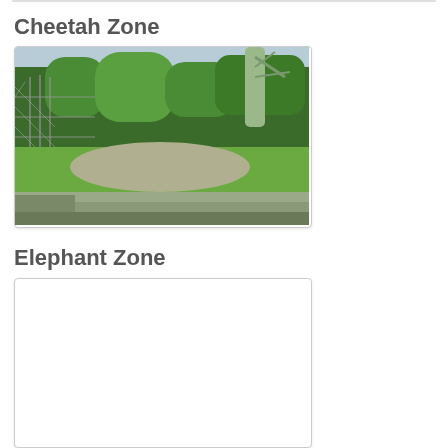Cheetah Zone
[Figure (photo): Photo of cheetah zone enclosure: green trees and bushes in background, chain-link fence on left side, gravel mound in center, grassy ground, dirt path in foreground]
Elephant Zone
[Figure (photo): Partially visible/blank photo area for elephant zone, white/empty]